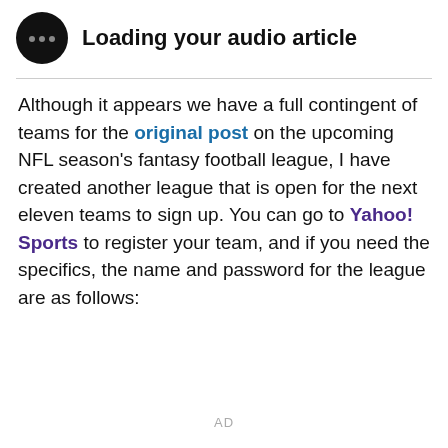Loading your audio article
Although it appears we have a full contingent of teams for the original post on the upcoming NFL season's fantasy football league, I have created another league that is open for the next eleven teams to sign up. You can go to Yahoo! Sports to register your team, and if you need the specifics, the name and password for the league are as follows:
AD